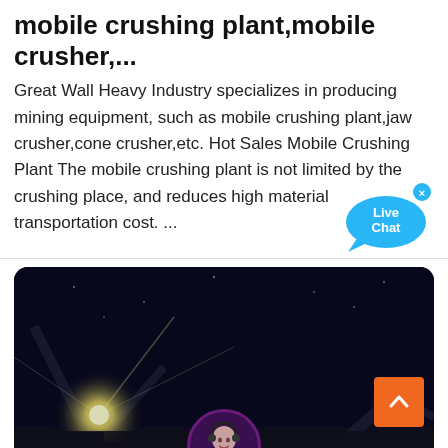mobile crushing plant,mobile crusher,...
Great Wall Heavy Industry specializes in producing mining equipment, such as mobile crushing plant,jaw crusher,cone crusher,etc. Hot Sales Mobile Crushing Plant The mobile crushing plant is not limited by the crushing place, and reduces high material transportation cost. ...
[Figure (photo): Dark industrial night scene showing a mining/crushing plant with bright lights and industrial equipment silhouetted against a dark sky]
Leave Message
Chat Online